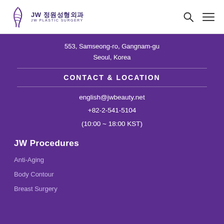[Figure (logo): JW Plastic Surgery logo with stylized feather/J mark and Korean text JW 정원성형외과 with JW PLASTIC SURGERY below]
553, Samseong-ro, Gangnam-gu
Seoul, Korea
CONTACT & LOCATION
english@jwbeauty.net
+82-2-541-5104
(10:00 ~ 18:00 KST)
JW Procedures
Anti-Aging
Body Contour
Breast Surgery